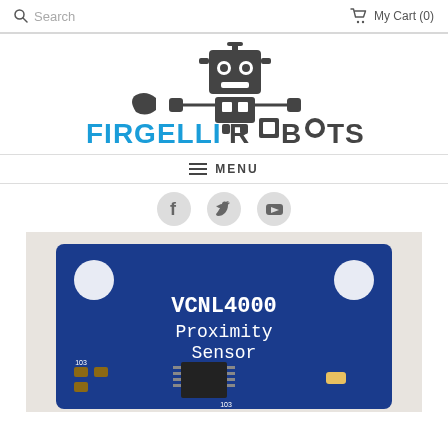Search | My Cart (0)
[Figure (logo): Firgelli Robots logo with robot icon and blue/gray text]
MENU
[Figure (illustration): Social media icons: Facebook, Twitter, YouTube]
[Figure (photo): VCNL4000 Proximity Sensor circuit board on blue PCB]